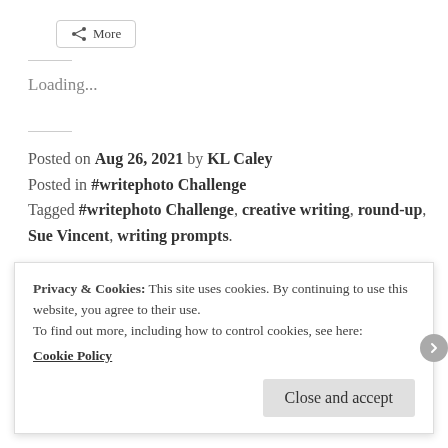[Figure (screenshot): Share button with icon and label 'More']
Loading...
Posted on Aug 26, 2021 by KL Caley
Posted in #writephoto Challenge
Tagged #writephoto Challenge, creative writing, round-up, Sue Vincent, writing prompts.
[Figure (photo): Colorful image strip at bottom of article]
Privacy & Cookies: This site uses cookies. By continuing to use this website, you agree to their use.
To find out more, including how to control cookies, see here:
Cookie Policy
Close and accept